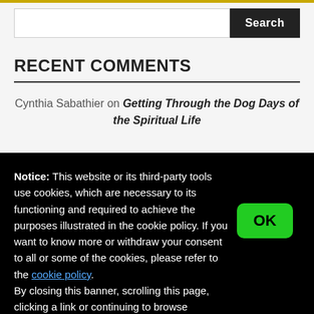RECENT COMMENTS
Cynthia Sabathier on Getting Through the Dog Days of the Spiritual Life
Notice: This website or its third-party tools use cookies, which are necessary to its functioning and required to achieve the purposes illustrated in the cookie policy. If you want to know more or withdraw your consent to all or some of the cookies, please refer to the cookie policy. By closing this banner, scrolling this page, clicking a link or continuing to browse otherwise, you agree to the use of cookies.